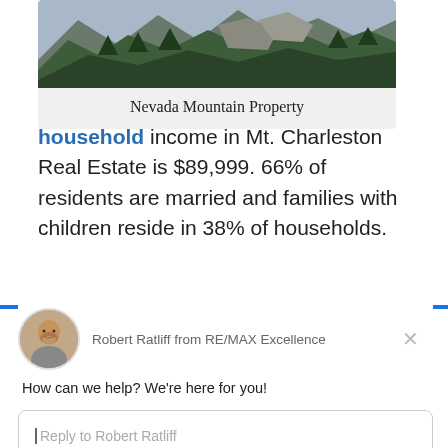[Figure (photo): Mountain landscape photo showing forested hillside with rocky cliffs — Nevada Mountain Property]
Nevada Mountain Property
household income in Mt. Charleston Real Estate is $89,999. 66% of residents are married and families with children reside in 38% of households.
[Figure (screenshot): Chat widget showing Robert Ratliff from RE/MAX Excellence with avatar photo, greeting message 'How can we help? We're here for you!', reply input box, and 'Chat by Drift' footer]